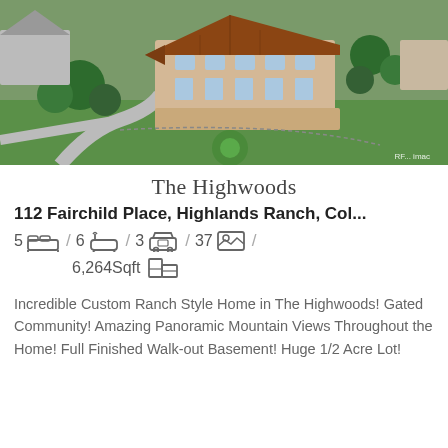[Figure (photo): Aerial view of a large custom ranch-style home with tan/beige stucco exterior and brown tile roof, surrounded by green lawn and trees, in a residential neighborhood.]
The Highwoods
112 Fairchild Place, Highlands Ranch, Col...
5 [bed icon] / 6 [bath icon] / 3 [car icon] / 37 [photo icon] / 6,264 Sqft [floorplan icon]
Incredible Custom Ranch Style Home in The Highwoods! Gated Community! Amazing Panoramic Mountain Views Throughout the Home! Full Finished Walk-out Basement! Huge 1/2 Acre Lot!